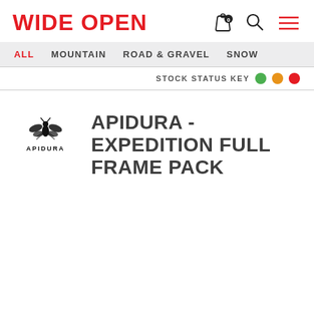WIDE OPEN
ALL  MOUNTAIN  ROAD & GRAVEL  SNOW
STOCK STATUS KEY
[Figure (logo): Apidura brand logo — stylized bee/insect above the text APIDURA]
APIDURA - EXPEDITION FULL FRAME PACK